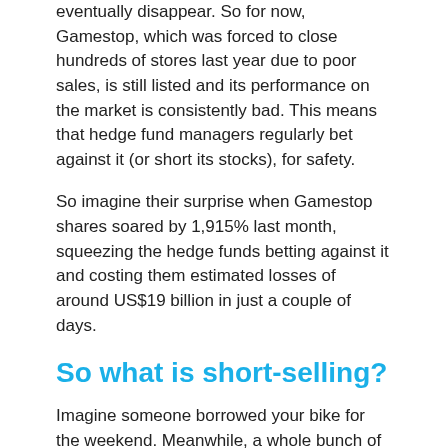eventually disappear. So for now, Gamestop, which was forced to close hundreds of stores last year due to poor sales, is still listed and its performance on the market is consistently bad. This means that hedge fund managers regularly bet against it (or short its stocks), for safety.
So imagine their surprise when Gamestop shares soared by 1,915% last month, squeezing the hedge funds betting against it and costing them estimated losses of around US$19 billion in just a couple of days.
So what is short-selling?
Imagine someone borrowed your bike for the weekend. Meanwhile, a whole bunch of their friends borrowed other people's bikes. Then, unbeknownst to you, they sold them all on Saturday, causing the value of bikes to plummet, before buying them back for less money on Sunday. They give you the bike